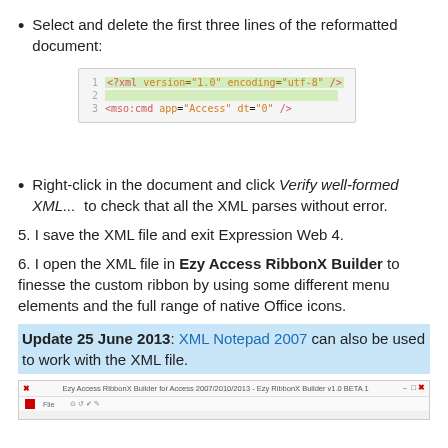Select and delete the first three lines of the reformatted document:
[Figure (screenshot): Code editor screenshot showing 3 lines of XML: line 1 highlighted in green <?xml version="1.0" encoding="utf-8" />, line 2 blank highlighted in green, line 3 <mso:cmd app="Access" dt="0" />]
Right-click in the document and click Verify well-formed XML...  to check that all the XML parses without error.
5. I save the XML file and exit Expression Web 4.
6. I open the XML file in Ezy Access RibbonX Builder to finesse the custom ribbon by using some different menu elements and the full range of native Office icons.
Update 25 June 2013: XML Notepad 2007 can also be used to work with the XML file.
[Figure (screenshot): Bottom portion of Ezy Access RibbonX Builder application window screenshot]